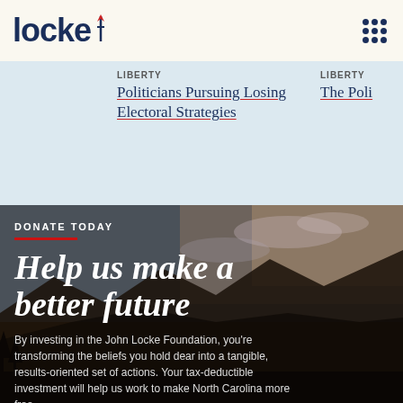locke
LIBERTY
Politicians Pursuing Losing Electoral Strategies
LIBERTY
The Poli
DONATE TODAY
Help us make a better future
By investing in the John Locke Foundation, you're transforming the beliefs you hold dear into a tangible, results-oriented set of actions. Your tax-deductible investment will help us work to make North Carolina more free.
DONATE